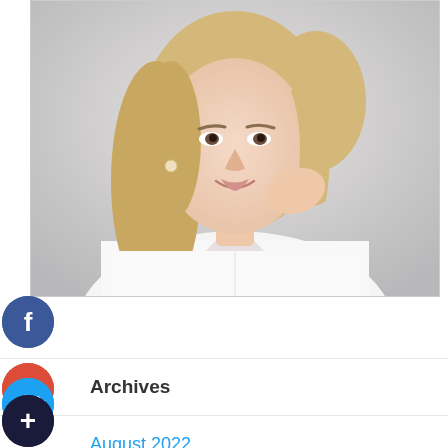[Figure (photo): Portrait photo of a blonde woman in a white shirt, smiling with hand raised to chin, against a light grey background]
[Figure (infographic): Facebook social share button - dark blue circle with white 'f' icon]
[Figure (infographic): Google+ social share button - red circle with white 'g+' icon]
[Figure (infographic): Twitter social share button - blue circle with white bird icon]
[Figure (infographic): Add/Plus button - dark circle with white '+' icon]
Archives
August 2022
July 2022
June 2022
May 2022